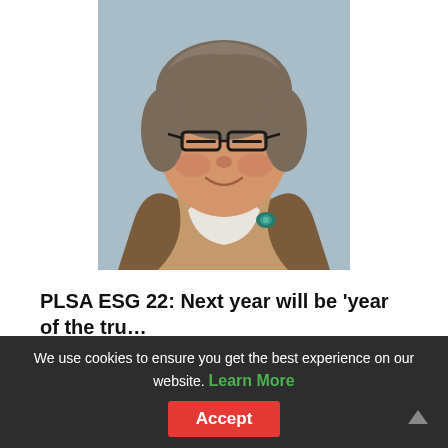[Figure (photo): Portrait photo of a middle-aged woman with short grey-brown hair, wearing glasses, a brown blazer over a white top, and a teal brooch. Background is light blue-grey.]
PLSA ESG 22: Next year will be 'year of the tru...
We use cookies to ensure you get the best experience on our website. Learn More Accept